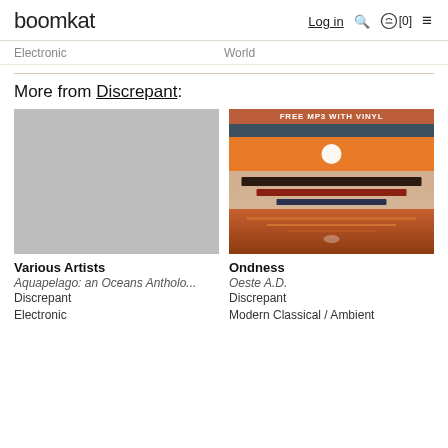boomkat  Log in  [0]
Electronic   World
More from Discrepant:
[Figure (photo): Grey placeholder album art for Various Artists - Aquapelago]
Various Artists
Aquapelago: an Oceans Antholo...
Discrepant
Electronic
[Figure (photo): Sunset album art with orange sky and layered landscape for Ondness - Oeste A.D. with FREE MP3 WITH VINYL badge]
Ondness
Oeste A.D.
Discrepant
Modern Classical / Ambient